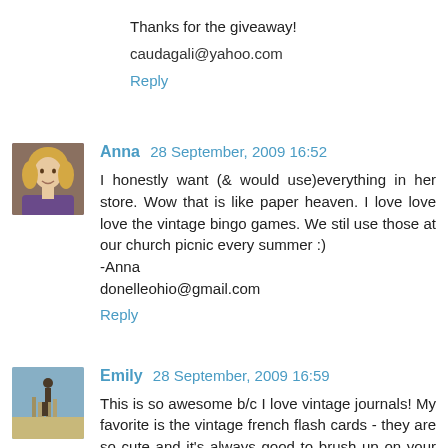Thanks for the giveaway!
caudagali@yahoo.com
Reply
Anna 28 September, 2009 16:52
I honestly want (& would use)everything in her store. Wow that is like paper heaven. I love love love the vintage bingo games. We stil use those at our church picnic every summer :)
-Anna
donelleohio@gmail.com
Reply
Emily 28 September, 2009 16:59
This is so awesome b/c I love vintage journals! My favorite is the vintage french flash cards - they are so cute and it's always good to brush up on your French!